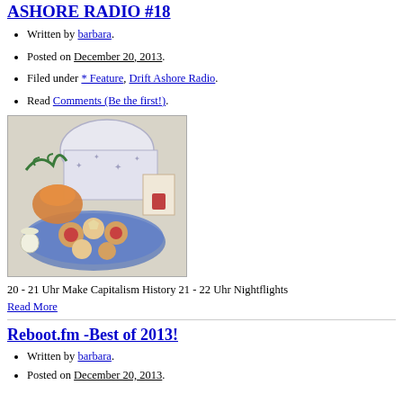ASHORE RADIO #18
Written by barbara.
Posted on December 20, 2013.
Filed under * Feature, Drift Ashore Radio.
Read Comments (Be the first!).
[Figure (photo): Photo of Christmas cookies on a plate with decorative tins and a candle in the background]
20 - 21 Uhr Make Capitalism History 21 - 22 Uhr Nightflights
Read More
Reboot.fm -Best of 2013!
Written by barbara.
Posted on December 20, 2013.